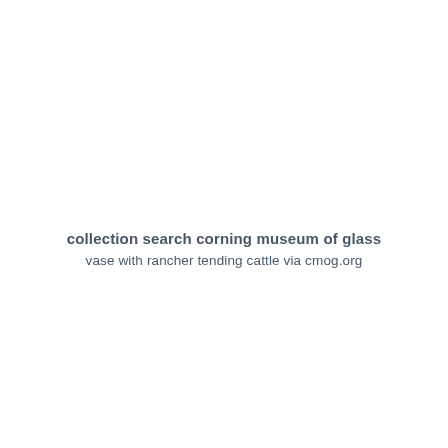collection search corning museum of glass
vase with rancher tending cattle via cmog.org